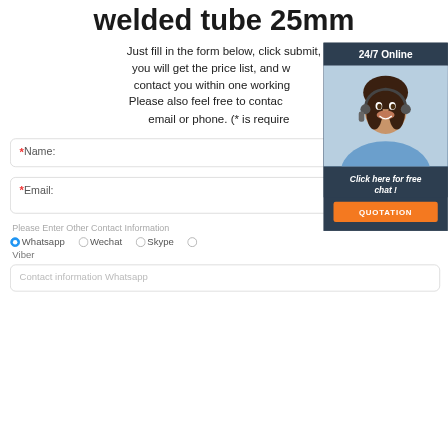welded tube 25mm
Just fill in the form below, click submit, you will get the price list, and we will contact you within one working day. Please also feel free to contact us via email or phone. (* is required)
* Name:
* Email:
Please Enter Other Contact Information
Whatsapp  Wechat  Skype  (radio button) Viber
Contact information Whatsapp